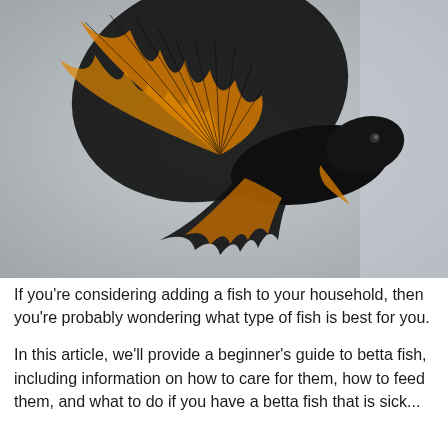[Figure (photo): Close-up photo of a black and orange/yellow betta fish (Siamese fighting fish) with large, flowing fins displayed against a light grey background.]
If you're considering adding a fish to your household, then you're probably wondering what type of fish is best for you.
In this article, we'll provide a beginner's guide to betta fish, including information on how to care for them, how to feed them, and what to do if you have a betta fish that is sick...